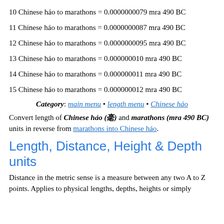10 Chinese háo to marathons = 0.0000000079 mra 490 BC
11 Chinese háo to marathons = 0.0000000087 mra 490 BC
12 Chinese háo to marathons = 0.0000000095 mra 490 BC
13 Chinese háo to marathons = 0.000000010 mra 490 BC
14 Chinese háo to marathons = 0.000000011 mra 490 BC
15 Chinese háo to marathons = 0.000000012 mra 490 BC
Category: main menu • length menu • Chinese háo
Convert length of Chinese háo (毫) and marathons (mra 490 BC) units in reverse from marathons into Chinese háo.
Length, Distance, Height & Depth units
Distance in the metric sense is a measure between any two A to Z points. Applies to physical lengths, depths, heights or simply